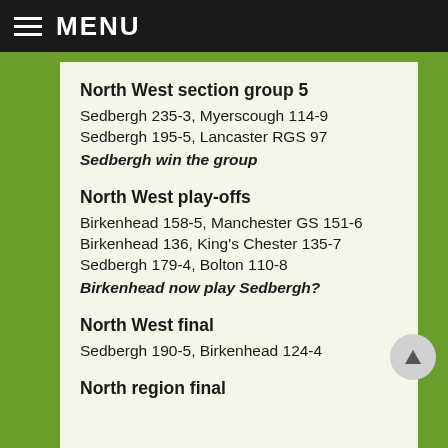MENU
North West section group 5
Sedbergh 235-3, Myerscough 114-9
Sedbergh 195-5, Lancaster RGS 97
Sedbergh win the group
North West play-offs
Birkenhead 158-5, Manchester GS 151-6
Birkenhead 136, King's Chester 135-7
Sedbergh 179-4, Bolton 110-8
Birkenhead now play Sedbergh?
North West final
Sedbergh 190-5, Birkenhead 124-4
North region final